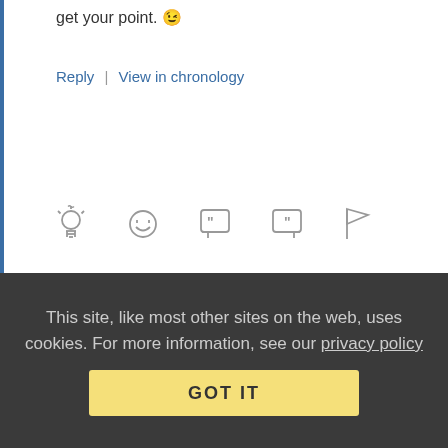get your point. 😉
Reply | View in chronology
[Figure (other): Row of reaction/action icons: lightbulb, laughing face, quote bubble (open quote), quote bubble (close quote), flag]
[2]
DannyB (profile) September 29, 2016 at 11:56 am
INSIDER
Re: Welcome to unlicensed spectrum!
The owners of the venue may be able to escort a journalist off
This site, like most other sites on the web, uses cookies. For more information, see our privacy policy
GOT IT